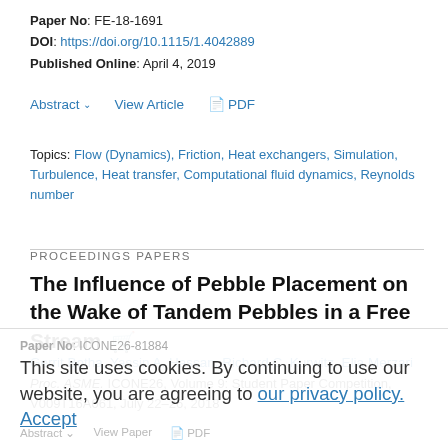Paper No: FE-18-1691
DOI: https://doi.org/10.1115/1.4042889
Published Online: April 4, 2019
Abstract ∨   View Article   PDF
Topics: Flow (Dynamics), Friction, Heat exchangers, Simulation, Turbulence, Heat transfer, Computational fluid dynamics, Reynolds number
PROCEEDINGS PAPERS
The Influence of Pebble Placement on the Wake of Tandem Pebbles in a Free Stream
Gerrit Botha, Yassin A. Hassan, Richard C. Kurwitz, Elia Merzari
Proc. ASME. ICONE26, Volume 9: Student Paper Competition, V009T16A061, July 22–26, 2018
This site uses cookies. By continuing to use our website, you are agreeing to our privacy policy. Accept